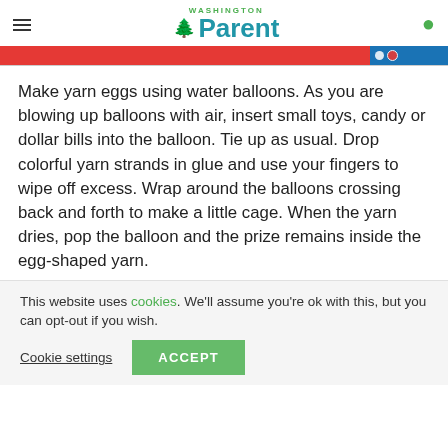Washington Parent
[Figure (screenshot): Red and blue banner image strip at top of article]
Make yarn eggs using water balloons. As you are blowing up balloons with air, insert small toys, candy or dollar bills into the balloon. Tie up as usual. Drop colorful yarn strands in glue and use your fingers to wipe off excess. Wrap around the balloons crossing back and forth to make a little cage. When the yarn dries, pop the balloon and the prize remains inside the egg-shaped yarn.
This website uses cookies. We'll assume you're ok with this, but you can opt-out if you wish.
Cookie settings  ACCEPT